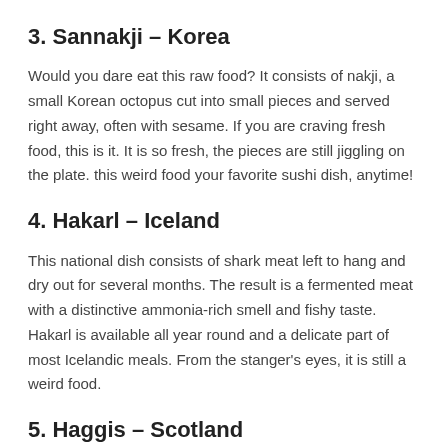3. Sannakji – Korea
Would you dare eat this raw food? It consists of nakji, a small Korean octopus cut into small pieces and served right away, often with sesame. If you are craving fresh food, this is it. It is so fresh, the pieces are still jiggling on the plate. this weird food your favorite sushi dish, anytime!
4. Hakarl – Iceland
This national dish consists of shark meat left to hang and dry out for several months. The result is a fermented meat with a distinctive ammonia-rich smell and fishy taste. Hakarl is available all year round and a delicate part of most Icelandic meals. From the stanger's eyes, it is still a weird food.
5. Haggis – Scotland